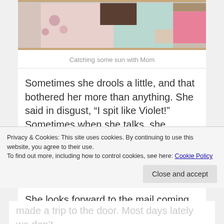[Figure (photo): Partial view of a person catching sun with Mom, cropped photo showing clothing with floral pattern, pink and teal colors]
Catching some sun with Mom
Sometimes she drools a little, and that bothered her more than anything. She said in disgust, “I spit like Violet!” Sometimes when she talks, she sounds exactly like my 90 yr. old Grandma did when she was suffering from ALS. Not always though.
She looks forward to the mail coming, and her eyes
Privacy & Cookies: This site uses cookies. By continuing to use this website, you agree to their use.
To find out more, including how to control cookies, see here: Cookie Policy
made a trip to the door. Most days lately we don’t